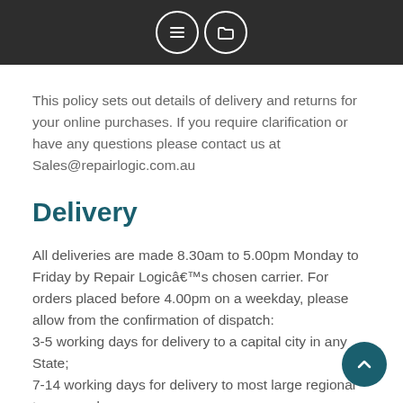[icons: list icon and folder icon]
This policy sets out details of delivery and returns for your online purchases. If you require clarification or have any questions please contact us at Sales@repairlogic.com.au
Delivery
All deliveries are made 8.30am to 5.00pm Monday to Friday by Repair Logicâ€™s chosen carrier. For orders placed before 4.00pm on a weekday, please allow from the confirmation of dispatch:
3-5 working days for delivery to a capital city in any State;
7-14 working days for delivery to most large regional towns; and
7-14 working days for delivery to other remote locations.
During peak periods (Easter or Xmas), the delivery may take up